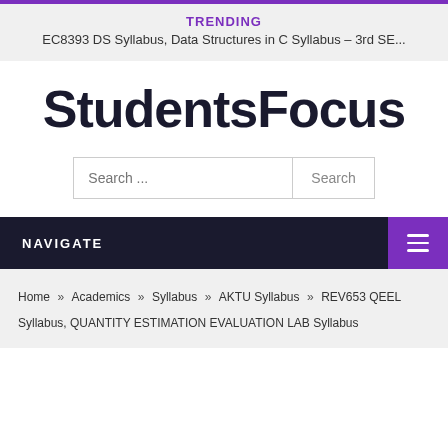TRENDING
EC8393 DS Syllabus, Data Structures in C Syllabus – 3rd SE...
StudentsFocus
Search ... Search
NAVIGATE
Home » Academics » Syllabus » AKTU Syllabus » REV653 QEEL Syllabus, QUANTITY ESTIMATION EVALUATION LAB Syllabus